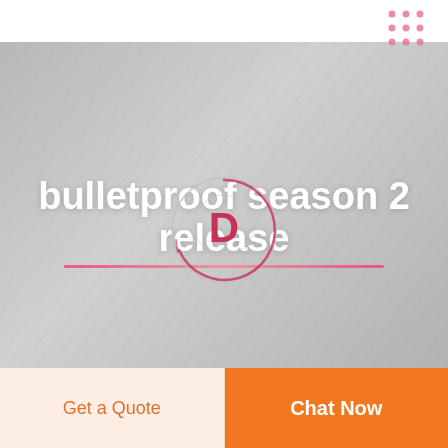[Figure (screenshot): Dot grid decoration in top-right corner, 3x3 arrangement of small pink/red dots]
[Figure (screenshot): Hero image area with gray textured background. Large white bold text reads 'bulletproof season 2 release' with a pink underline. A play button icon (circle with 'D' logo in crimson/pink) is overlaid in the center.]
Get a Quote
Chat Now